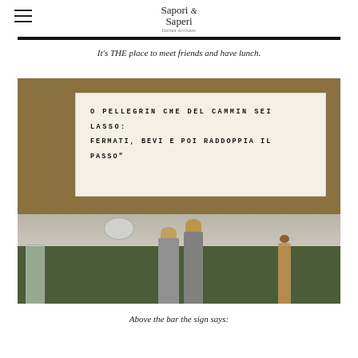Sapori & Saperi | Italian Artisans
It's THE place to meet friends and have lunch.
[Figure (photo): Interior photo of a bar/restaurant showing a handwritten sign above the bar reading 'O PELLEGRIN CHE DEL CAMMIN SEI LASSO: FERMATI, BEVI E POI RADDOPPIA IL PASSO' with bottles and green wall visible below.]
Above the bar the sign says: